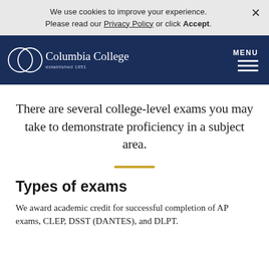We use cookies to improve your experience. Please read our Privacy Policy or click Accept.
[Figure (logo): Columbia College logo — two overlapping circles with Columbia College text and 'established 1851' below]
There are several college-level exams you may take to demonstrate proficiency in a subject area.
Types of exams
We award academic credit for successful completion of AP exams, CLEP, DSST (DANTES), and DLPT.